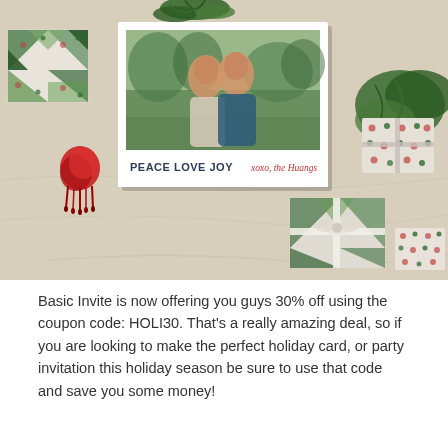[Figure (photo): Holiday scene photo showing wrapped gifts with green geometric patterns and red ribbon, a white holiday photo card centered showing a couple (man and woman) embracing outdoors in nature, with 'PEACE LOVE JOY xoxo, the Huangs' text on the card, surrounded by decorative greenery and gifts on a light marble surface.]
Basic Invite is now offering you guys 30% off using the coupon code: HOLI30. That's a really amazing deal, so if you are looking to make the perfect holiday card, or party invitation this holiday season be sure to use that code and save you some money!